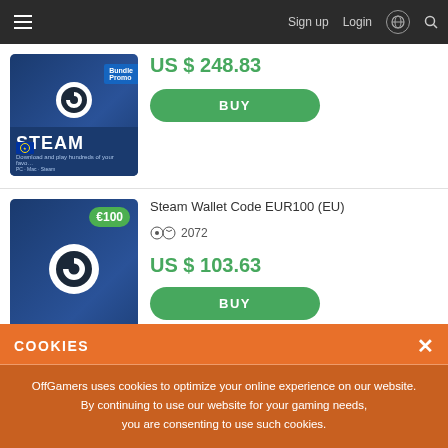Sign up  Login
[Figure (screenshot): Steam Wallet gift card product image with 'Bundle Promo' badge, partial view]
US $ 248.83
BUY
Steam Wallet Code EUR100 (EU)
2072
US $ 103.63
BUY
COOKIES
OffGamers uses cookies to optimize your online experience on our website. By continuing to use our website for your gaming needs, you are consenting to use such cookies.